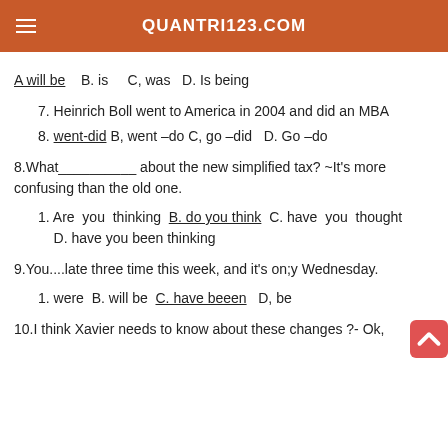QUANTRI123.COM
A will be   B. is   C, was   D. Is being
7. Heinrich Boll went to America in 2004 and did an MBA
8. went-did B, went –do C, go –did   D. Go –do
8.What__________ about the new simplified tax? ~It's more confusing than the old one.
1. Are you thinking B. do you think C. have you thought D. have you been thinking
9.You....late three time this week, and it's on;y Wednesday.
1. were B. will be C. have beeen   D, be
10.I think Xavier needs to know about these changes ?- Ok,